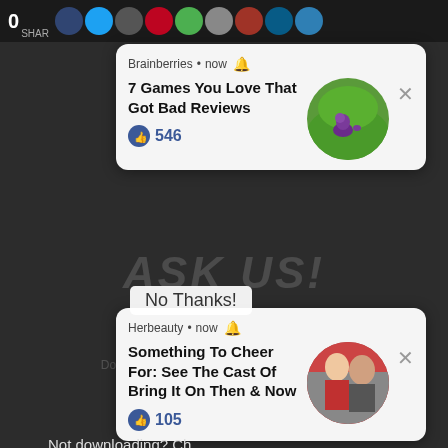[Figure (screenshot): Social sharing bar with count '0' and 'SHAR' label, with multiple colored social media icon circles (Facebook, Twitter, Google+, Pinterest, etc.)]
[Figure (screenshot): Notification card from Brainberries showing '7 Games You Love That Got Bad Reviews' with 546 likes and a circular image of Spyro the dragon character]
[Figure (screenshot): Notification card from Herbeauty showing 'Something To Cheer For: See The Cast Of Bring It On Then & Now' with 105 likes and a circular photo of two people]
No Thanks!
Not downloading? Ch
Introduction, Advantages And Disadvantages Of International Trade
Terms Of Trade, Balance Of